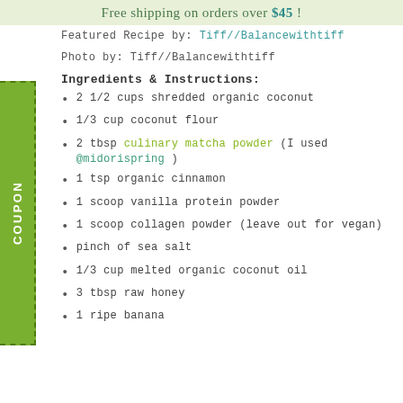Free shipping on orders over $45 !
Featured Recipe by: Tiff//Balancewithtiff
Photo by: Tiff//Balancewithtiff
Ingredients & Instructions:
2 1/2 cups shredded organic coconut
1/3 cup coconut flour
2 tbsp culinary matcha powder (I used @midorispring )
1 tsp organic cinnamon
1 scoop vanilla protein powder
1 scoop collagen powder (leave out for vegan)
pinch of sea salt
1/3 cup melted organic coconut oil
3 tbsp raw honey
1 ripe banana